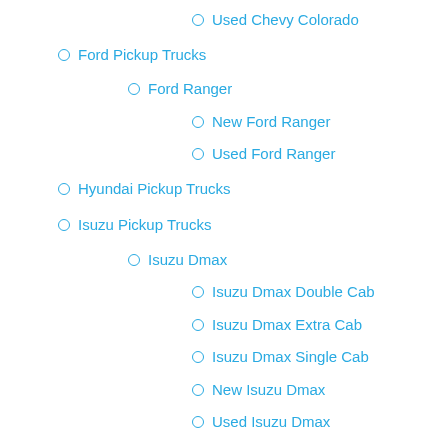Used Chevy Colorado
Ford Pickup Trucks
Ford Ranger
New Ford Ranger
Used Ford Ranger
Hyundai Pickup Trucks
Isuzu Pickup Trucks
Isuzu Dmax
Isuzu Dmax Double Cab
Isuzu Dmax Extra Cab
Isuzu Dmax Single Cab
New Isuzu Dmax
Used Isuzu Dmax
Mazda Pickup Trucks
Mazda BT-50